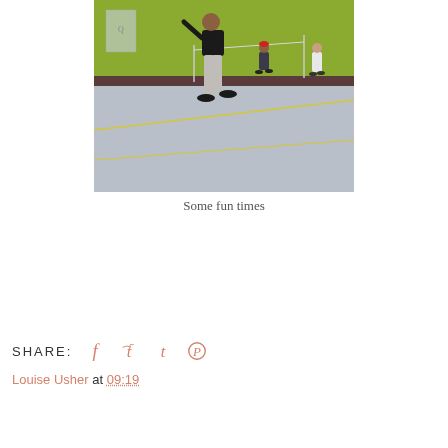[Figure (photo): Indoor badminton/sports court scene. A person in a black top and grey trousers is walking/playing on a grey court with yellow lines. Green walls visible in background. A net is strung across the court. Additional players visible in the background.]
Some fun times
SHARE:
Louise Usher at 09:19
Share